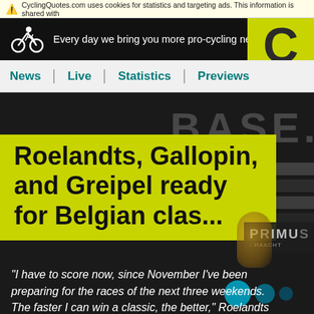⚠ CyclingQuotes.com uses cookies for statistics and targeting ads. This information is shared with
Every day we bring you more pro-cycling news
News
Live
Statistics
Previews
[Figure (screenshot): Background image showing cycling race banner with text 'BASE' partially visible and Primu/Haacht branding]
Roelandts, Gallopin, and Greipel ready for Belgian clas...
"I have to score now, since November I've been preparing for the races of the next three weekends. The faster I can win a classic, the better," Roelandts says